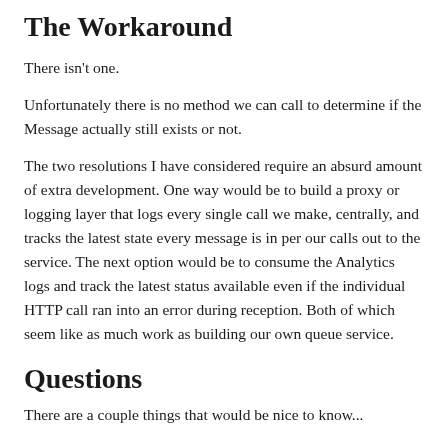The Workaround
There isn't one.
Unfortunately there is no method we can call to determine if the Message actually still exists or not.
The two resolutions I have considered require an absurd amount of extra development. One way would be to build a proxy or logging layer that logs every single call we make, centrally, and tracks the latest state every message is in per our calls out to the service. The next option would be to consume the Analytics logs and track the latest status available even if the individual HTTP call ran into an error during reception. Both of which seem like as much work as building our own queue service.
Questions
There are a couple things that would be nice to know...